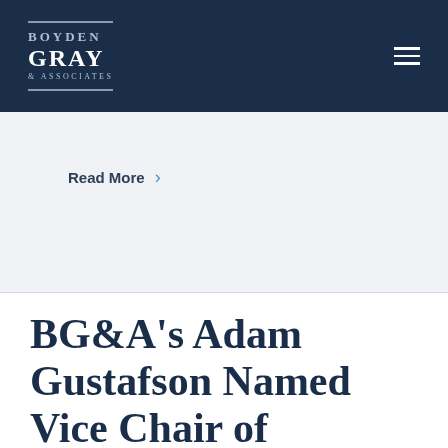BOYDEN GRAY & ASSOCIATES
Read More
BG&A's Adam Gustafson Named Vice Chair of